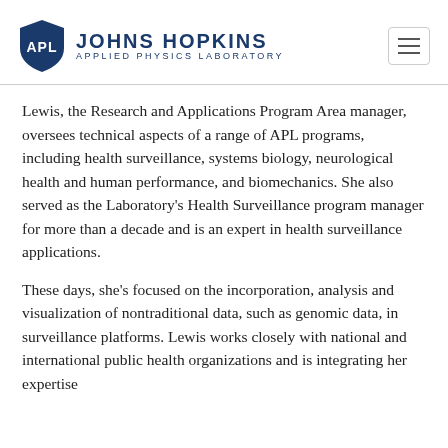Johns Hopkins Applied Physics Laboratory
Lewis, the Research and Applications Program Area manager, oversees technical aspects of a range of APL programs, including health surveillance, systems biology, neurological health and human performance, and biomechanics. She also served as the Laboratory's Health Surveillance program manager for more than a decade and is an expert in health surveillance applications.
These days, she's focused on the incorporation, analysis and visualization of nontraditional data, such as genomic data, in surveillance platforms. Lewis works closely with national and international public health organizations and is integrating her expertise